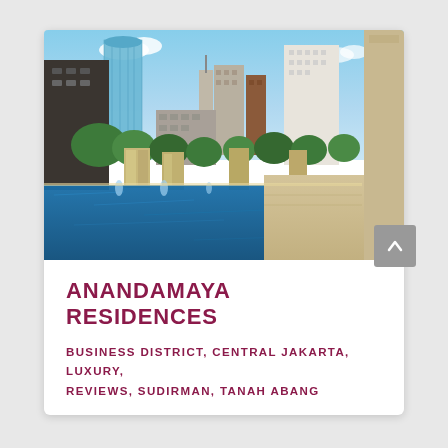[Figure (photo): Rooftop infinity pool with city skyline view of Jakarta, showing tall modern skyscrapers including a distinctive blue glass tower, green trees, and pool water in the foreground]
ANANDAMAYA RESIDENCES
BUSINESS DISTRICT, CENTRAL JAKARTA, LUXURY, REVIEWS, SUDIRMAN, TANAH ABANG